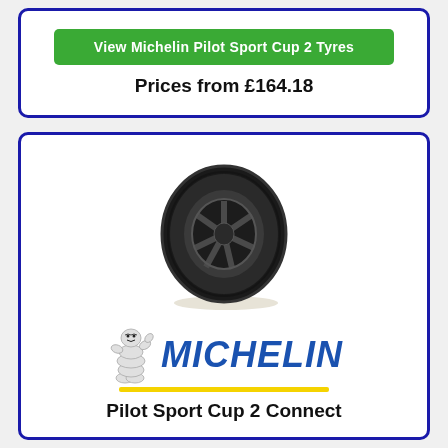View Michelin Pilot Sport Cup 2 Tyres
Prices from £164.18
[Figure (photo): Michelin Pilot Sport Cup 2 Connect tyre product image showing a black performance tyre with alloy wheel]
[Figure (logo): Michelin logo with Bibendum mascot and blue MICHELIN italic text with yellow underline bar]
Pilot Sport Cup 2 Connect